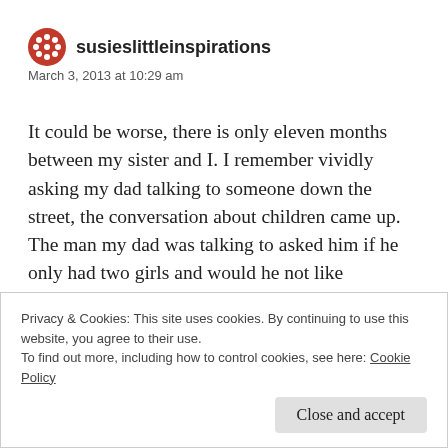susieslittleinspirations
March 3, 2013 at 10:29 am
It could be worse, there is only eleven months between my sister and I. I remember vividly asking my dad talking to someone down the street, the conversation about children came up. The man my dad was talking to asked him if he only had two girls and would he not like anymore....well, my dad innocently turned to look at me then replied to the man “trust me if you raised her you would never want another child near you!” Apparently children
Privacy & Cookies: This site uses cookies. By continuing to use this website, you agree to their use.
To find out more, including how to control cookies, see here: Cookie Policy
Close and accept